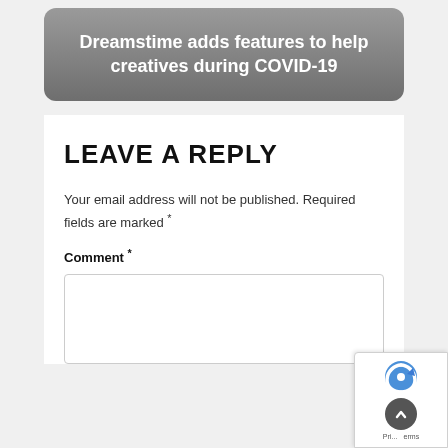[Figure (other): Banner card with gradient gray background and white bold text reading 'Dreamstime adds features to help creatives during COVID-19']
LEAVE A REPLY
Your email address will not be published. Required fields are marked *
Comment *